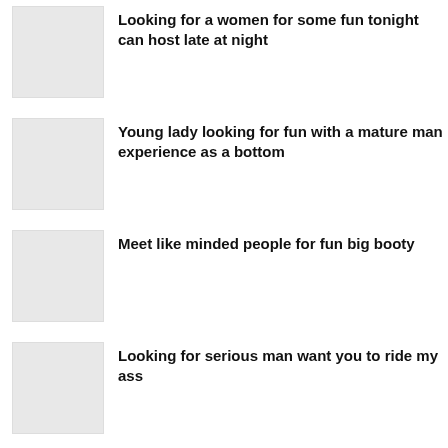Looking for a women for some fun tonight can host late at night
Young lady looking for fun with a mature man experience as a bottom
Meet like minded people for fun big booty
Looking for serious man want you to ride my ass
[Figure (other): Social media icons: Facebook, Twitter, Instagram, YouTube]